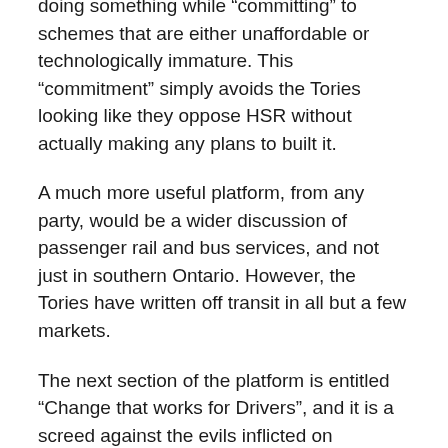doing something while “committing” to schemes that are either unaffordable or technologically immature. This “commitment” simply avoids the Tories looking like they oppose HSR without actually making any plans to built it.
A much more useful platform, from any party, would be a wider discussion of passenger rail and bus services, and not just in southern Ontario. However, the Tories have written off transit in all but a few markets.
The next section of the platform is entitled “Change that works for Drivers”, and it is a screed against the evils inflicted on motorists by the Wynne government. Oddly, it is less than half the length of the transit section, although clearly the Tories are playing to the idea that too much attention goes to transit riders and projects.